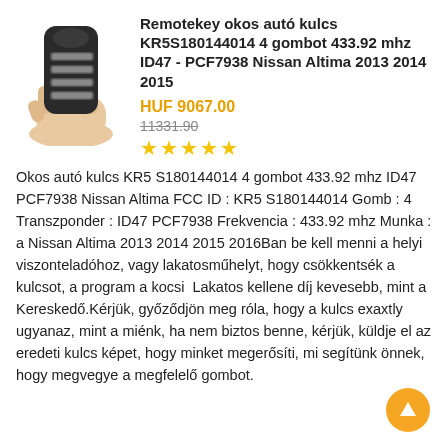[Figure (photo): Photo of a Nissan car key fob (Remotekey smart key, black, 4 buttons) held in a hand]
Remotekey okos autó kulcs KR5S180144014 4 gombot 433.92 mhz ID47 - PCF7938 Nissan Altima 2013 2014 2015
HUF 9067.00
11331.90
★★★★★
Okos autó kulcs KR5 S180144014 4 gombot 433.92 mhz ID47 PCF7938 Nissan Altima FCC ID : KR5 S180144014 Gomb : 4 Transzponder : ID47 PCF7938 Frekvencia : 433.92 mhz Munka : a Nissan Altima 2013 2014 2015 2016Ban be kell menni a helyi viszonteladóhoz, vagy lakatosműhelyt, hogy csökkentsék a kulcsot, a program a kocsi  Lakatos kellene díj kevesebb, mint a Kereskedő.Kérjük, győződjön meg róla, hogy a kulcs exaxtly ugyanaz, mint a miénk, ha nem biztos benne, kérjük, küldje el az eredeti kulcs képet, hogy minket megerősíti, mi segítünk önnek, hogy megvegye a megfelelő gombot.